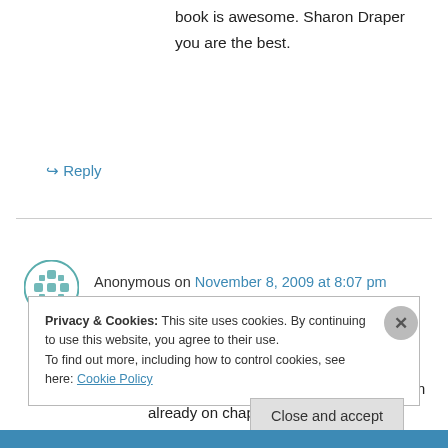book is awesome. Sharon Draper you are the best.
↳ Reply
Anonymous on November 8, 2009 at 8:07 pm
I bought this book three days ago after attending a writer's workshop at a local bookstore. This book is amazing and I am already on chapter Nine.
Privacy & Cookies: This site uses cookies. By continuing to use this website, you agree to their use.
To find out more, including how to control cookies, see here: Cookie Policy